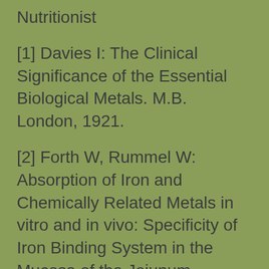Nutritionist
[1] Davies I: The Clinical Significance of the Essential Biological Metals. M.B. London, 1921.
[2] Forth W, Rummel W: Absorption of Iron and Chemically Related Metals in vitro and in vivo: Specificity of Iron Binding System in the Mucosa of the Jejunum. Intestinal Absorption of Metal Ions, Trace Elements and Radionuclides